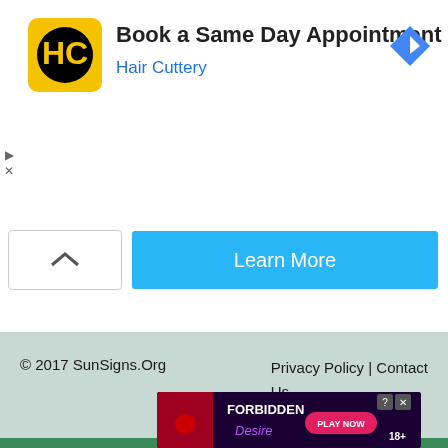[Figure (screenshot): Hair Cuttery advertisement banner: HC logo (yellow square with black circle), title 'Book a Same Day Appointment', subtitle 'Hair Cuttery' in blue, navigation diamond icon top right, play/close controls left side]
[Figure (screenshot): Ad card with a caret/collapse button on the left and a blue 'Learn More' button on the right]
© 2017 SunSigns.Org    Privacy Policy | Contact Us
[Figure (screenshot): Bottom advertisement banner: 'FORBIDDEN Desire PLAY NOW 18+' with question mark and X close buttons]